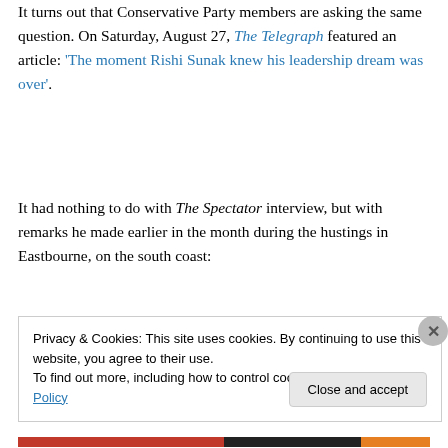It turns out that Conservative Party members are asking the same question. On Saturday, August 27, The Telegraph featured an article: 'The moment Rishi Sunak knew his leadership dream was over'.
It had nothing to do with The Spectator interview, but with remarks he made earlier in the month during the hustings in Eastbourne, on the south coast:
Privacy & Cookies: This site uses cookies. By continuing to use this website, you agree to their use. To find out more, including how to control cookies, see here: Cookie Policy